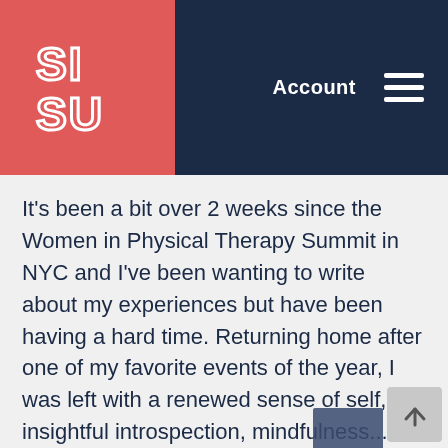[Figure (logo): SISU logo in white striped letters on a coral/red background]
Account
It's been a bit over 2 weeks since the Women in Physical Therapy Summit in NYC and I've been wanting to write about my experiences but have been having a hard time. Returning home after one of my favorite events of the year, I was left with a renewed sense of self, insightful introspection, mindfulness...